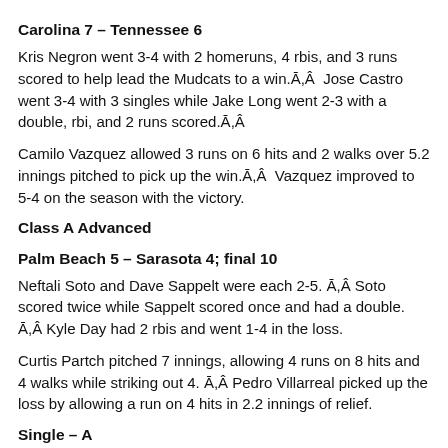Carolina 7 – Tennessee 6
Kris Negron went 3-4 with 2 homeruns, 4 rbis, and 3 runs scored to help lead the Mudcats to a win.Ã,Â  Jose Castro went 3-4 with 3 singles while Jake Long went 2-3 with a double, rbi, and 2 runs scored.Ã,Â
Camilo Vazquez allowed 3 runs on 6 hits and 2 walks over 5.2 innings pitched to pick up the win.Ã,Â  Vazquez improved to 5-4 on the season with the victory.
Class A Advanced
Palm Beach 5 – Sarasota 4; final 10
Neftali Soto and Dave Sappelt were each 2-5. Ã,Â Soto scored twice while Sappelt scored once and had a double. Ã,Â Kyle Day had 2 rbis and went 1-4 in the loss.
Curtis Partch pitched 7 innings, allowing 4 runs on 8 hits and 4 walks while striking out 4. Ã,Â Pedro Villarreal picked up the loss by allowing a run on 4 hits in 2.2 innings of relief.
Single – A